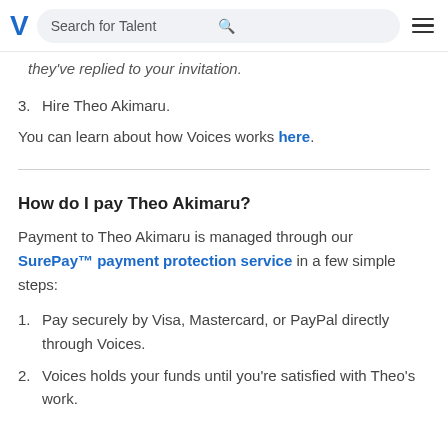V | Search for Talent [search icon] [menu icon]
they've replied to your invitation.
3. Hire Theo Akimaru.
You can learn about how Voices works here.
How do I pay Theo Akimaru?
Payment to Theo Akimaru is managed through our SurePay™ payment protection service in a few simple steps:
1. Pay securely by Visa, Mastercard, or PayPal directly through Voices.
2. Voices holds your funds until you're satisfied with Theo's work.